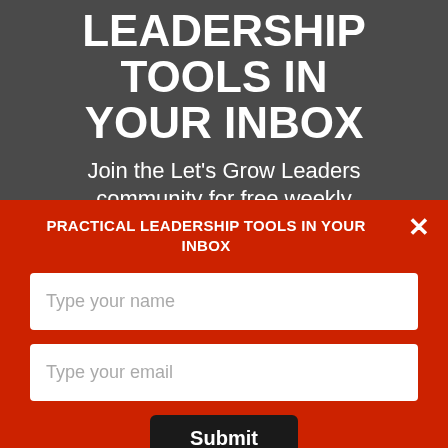LEADERSHIP TOOLS IN YOUR INBOX
Join the Let's Grow Leaders community for free weekly
PRACTICAL LEADERSHIP TOOLS IN YOUR INBOX
Type your name
Type your email
Submit